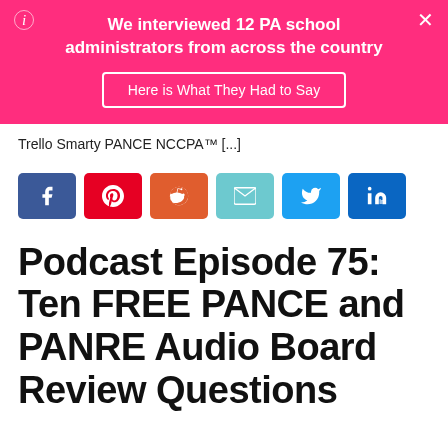[Figure (infographic): Pink banner with text 'We interviewed 12 PA school administrators from across the country' and a button 'Here is What They Had to Say'. Has close (X) and info (i) icons.]
Trello Smarty PANCE NCCPA™ [...]
[Figure (infographic): Social share buttons: Facebook (blue), Pinterest (red), Reddit (orange), Email (teal), Twitter (light blue), LinkedIn (blue)]
Podcast Episode 75: Ten FREE PANCE and PANRE Audio Board Review Questions